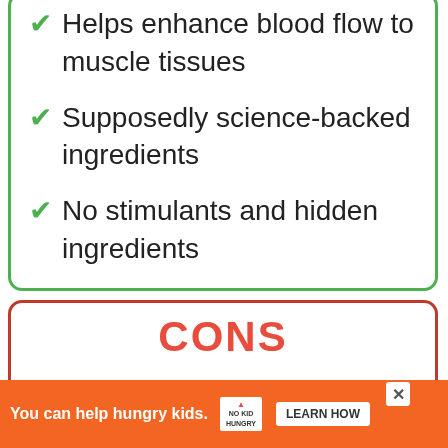Helps enhance blood flow to muscle tissues
Supposedly science-backed ingredients
No stimulants and hidden ingredients
CONS
Their website is full of obvious typos, which doesn't give a good impression
You can help hungry kids. NO KID HUNGRY LEARN HOW